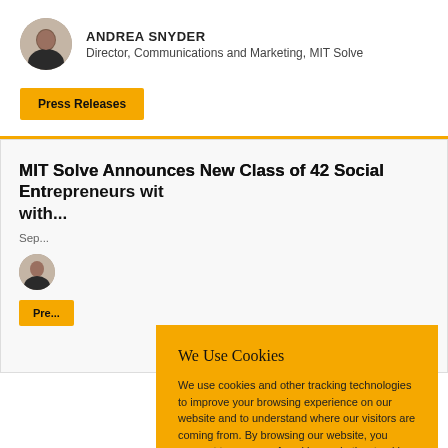ANDREA SNYDER
Director, Communications and Marketing, MIT Solve
Press Releases
MIT Solve Announces New Class of 42 Social Entrepreneurs with...
Sep...
[Figure (photo): Small circular avatar photo of a woman]
Pre...
We Use Cookies
We use cookies and other tracking technologies to improve your browsing experience on our website and to understand where our visitors are coming from. By browsing our website, you consent to our use of cookies and other tracking technologies.
ACCEPT
REJECT